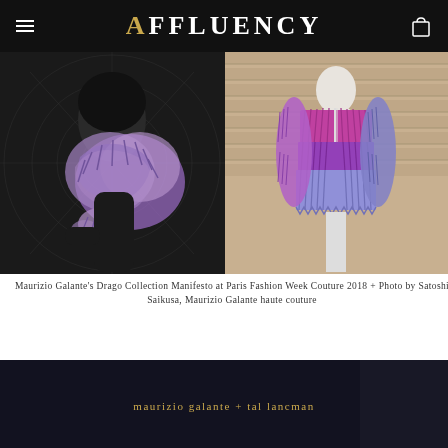AFFLUENCY
[Figure (photo): Two fashion photos side by side: left shows a black-and-white photo of a woman wearing an elaborate ruffled purple/lavender feathered or pleated garment against a geometric patterned background; right shows a mannequin wearing a gradient purple-to-lavender pleated jacket against a warm background.]
Maurizio Galante's Drago Collection Manifesto at Paris Fashion Week Couture 2018 + Photo by Satoshi Saikusa, Maurizio Galante haute couture
[Figure (photo): Dark-toned photo with text 'maurizio galante + tal lancman' in gold lettering on a dark background, partially cropped at bottom of page.]